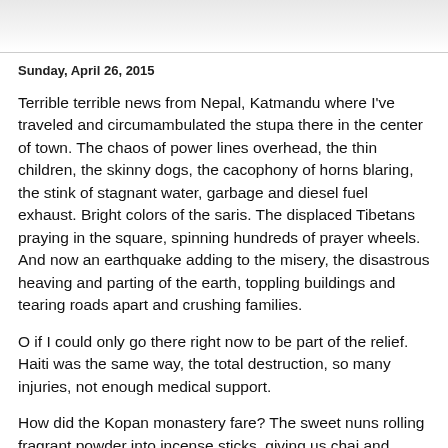Sunday, April 26, 2015
Terrible terrible news from Nepal, Katmandu where I've traveled and circumambulated the stupa there in the center of town. The chaos of power lines overhead, the thin children, the skinny dogs, the cacophony of horns blaring, the stink of stagnant water, garbage and diesel fuel exhaust. Bright colors of the saris. The displaced Tibetans praying in the square, spinning hundreds of prayer wheels. And now an earthquake adding to the misery, the disastrous heaving and parting of the earth, toppling buildings and tearing roads apart and crushing families.
O if I could only go there right now to be part of the relief. Haiti was the same way, the total destruction, so many injuries, not enough medical support.
How did the Kopan monastery fare? The sweet nuns rolling fragrant powder into incense sticks, giving us chai and cookies in their temple.